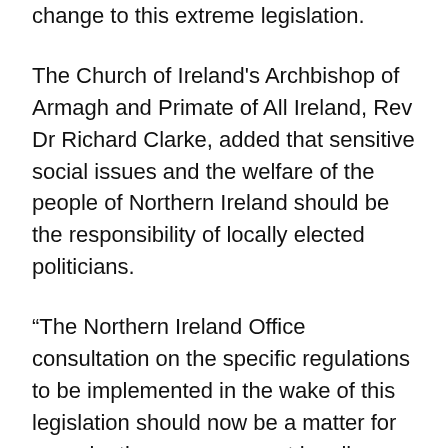change to this extreme legislation.
The Church of Ireland's Archbishop of Armagh and Primate of All Ireland, Rev Dr Richard Clarke, added that sensitive social issues and the welfare of the people of Northern Ireland should be the responsibility of locally elected politicians.
“The Northern Ireland Office consultation on the specific regulations to be implemented in the wake of this legislation should now be a matter for conscientious engagement by all our people,” he said.
“We continue to pray for our politicians, but we pray also for all who will be affected by this legislation, imposed as it is from elsewhere.”